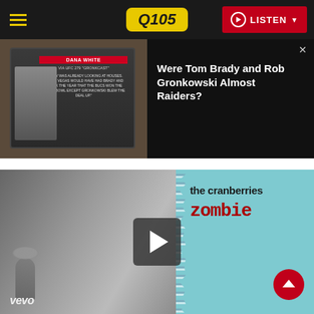[Figure (screenshot): Q105 radio station website header with hamburger menu, Q105 logo in yellow on dark background, and red LISTEN button with play icon and chevron]
[Figure (screenshot): Article thumbnail showing Dana White via UFC 279 Gronkcast on a TV screen, with text about Tom Brady looking at houses in Las Vegas]
Were Tom Brady and Rob Gronkowski Almost Raiders?
[Figure (screenshot): Music video thumbnail for The Cranberries - Zombie, showing black and white singer with microphone on left, teal album art with 'the cranberries zombie' text on right, vevo watermark, and play button overlay. Red scroll-to-top button in bottom right.]